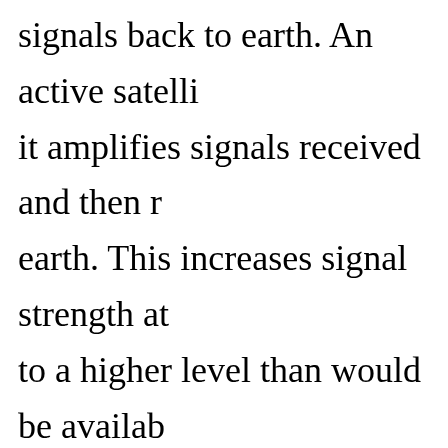signals back to earth. An active satelli it amplifies signals received and then r earth. This increases signal strength at to a higher level than would be availab satellite. A typical operational link involves an or more earth terminals. One station tr on a frequency called the UP-LINK fr then amplifies the signal, converts it to